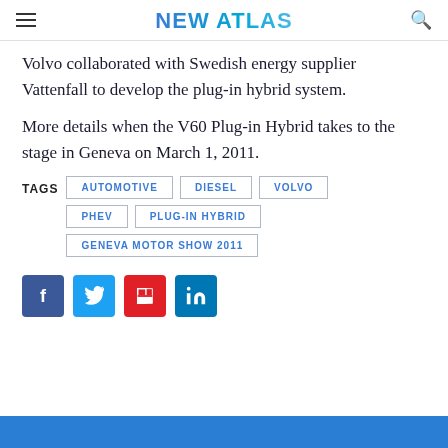NEW ATLAS
Volvo collaborated with Swedish energy supplier Vattenfall to develop the plug-in hybrid system.
More details when the V60 Plug-in Hybrid takes to the stage in Geneva on March 1, 2011.
TAGS: AUTOMOTIVE, DIESEL, VOLVO, PHEV, PLUG-IN HYBRID, GENEVA MOTOR SHOW 2011